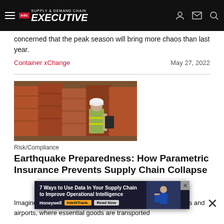Supply & Demand Chain Executive
concerned that the peak season will bring more chaos than last year.
Container xChange    May 27, 2022
[Figure (photo): Worker in yellow safety vest and white hard hat holding clipboard, standing in front of stacked shipping containers]
Risk/Compliance
Earthquake Preparedness: How Parametric Insurance Prevents Supply Chain Collapse
Imagine a ... ping ports and airports, where essential goods are transported